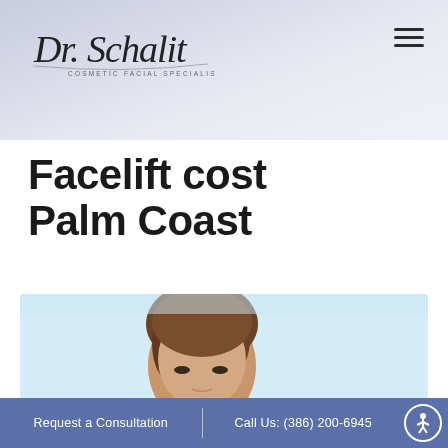[Figure (logo): Dr. Schalit Cosmetic Facial Specialist script logo with hamburger menu icon]
Facelift cost Palm Coast
[Figure (photo): Close-up photo of a woman's face from the nose up against a light blue background]
Request a Consultation  |  Call Us: (386) 200-6945